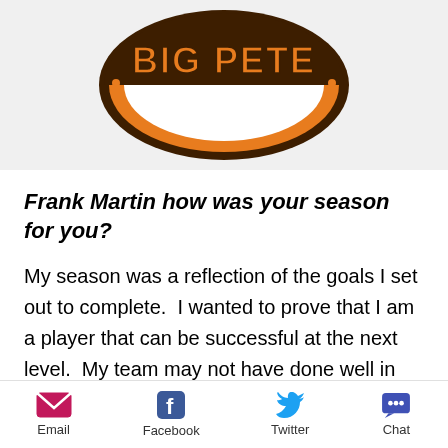[Figure (logo): Big Pete logo - circular badge with 'BIG PETE' text in orange and brown colors]
Frank Martin how was your season for you?
My season was a reflection of the goals I set out to complete.  I wanted to prove that I am a player that can be successful at the next level.  My team may not have done well in terms of record, but I feel that I
Email   Facebook   Twitter   Chat